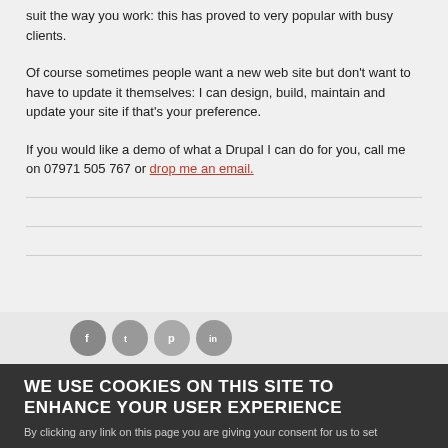suit the way you work: this has proved to very popular with busy clients.
Of course sometimes people want a new web site but don't want to have to update it themselves: I can design, build, maintain and update your site if that's your preference.
If you would like a demo of what a Drupal I can do for you, call me on 07971 505 767 or drop me an email.
WE USE COOKIES ON THIS SITE TO ENHANCE YOUR USER EXPERIENCE By clicking any link on this page you are giving your consent for us to set